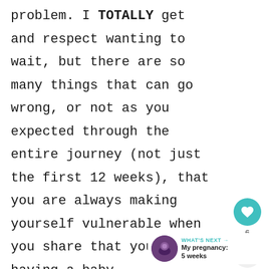problem. I TOTALLY get and respect wanting to wait, but there are so many things that can go wrong, or not as you expected through the entire journey (not just the first 12 weeks), that you are always making yourself vulnerable when you share that you are having a baby.

Speaking of N/T scans...
[Figure (infographic): Heart/like button (teal circle with heart icon), like count of 6, and share button (light grey circle with share icon) on the right sidebar]
[Figure (infographic): WHAT'S NEXT arrow label in teal, with thumbnail image (purple circle with pregnancy ultrasound imagery) and text 'My pregnancy: 5 weeks']